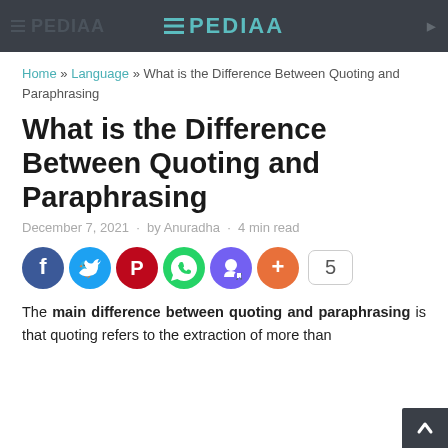PEDIAA
Home » Language » What is the Difference Between Quoting and Paraphrasing
What is the Difference Between Quoting and Paraphrasing
December 7, 2021 · by Anuradha · 4 min read
[Figure (infographic): Social share icons: Facebook, Twitter, Pinterest, WhatsApp, Viber, More (+), and a share count of 5]
The main difference between quoting and paraphrasing is that quoting refers to the extraction of more than a word directly from a stated source without changing